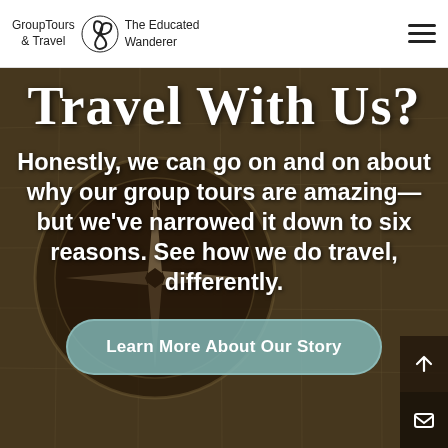GroupTours & Travel · The Educated Wanderer
[Figure (photo): Hero section with compass and vintage map background image, dark overlay]
Travel With Us?
Honestly, we can go on and on about why our group tours are amazing— but we've narrowed it down to six reasons. See how we do travel, differently.
Learn More About Our Story